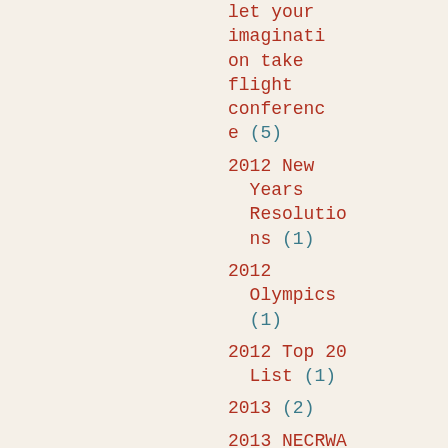let your imagination take flight conference (5)
2012 New Years Resolutions (1)
2012 Olympics (1)
2012 Top 20 List (1)
2013 (2)
2013 NECRWA Conferenc